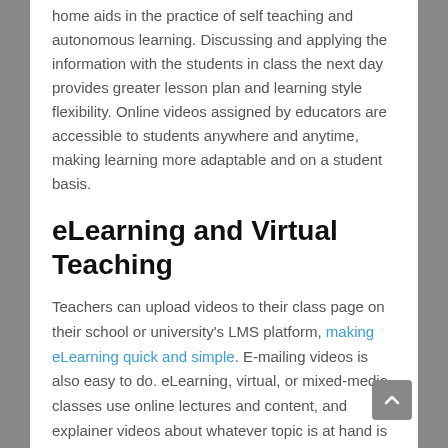home aids in the practice of self teaching and autonomous learning. Discussing and applying the information with the students in class the next day provides greater lesson plan and learning style flexibility. Online videos assigned by educators are accessible to students anywhere and anytime, making learning more adaptable and on a student basis.
eLearning and Virtual Teaching
Teachers can upload videos to their class page on their school or university's LMS platform, making eLearning quick and simple. E-mailing videos is also easy to do. eLearning, virtual, or mixed-media classes use online lectures and content, and explainer videos about whatever topic is at hand is an intriguing, impactful, and fun way to learn new information. Oh, and educators get sick too. When that happens, assigning students videos to watch at